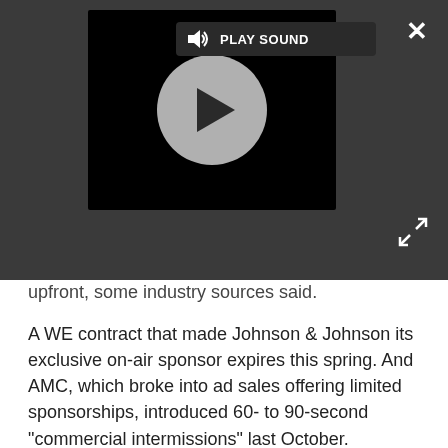[Figure (screenshot): Video player overlay with dark grey background, black video player area showing a grey play button circle, PLAY SOUND label in top bar, X close button top right, expand arrows bottom right]
upfront, some industry sources said.
A WE contract that made Johnson & Johnson its exclusive on-air sponsor expires this spring. And AMC, which broke into ad sales offering limited sponsorships, introduced 60- to 90-second "commercial intermissions" last October.
A Rainbow Media Holdings Inc. source said AMC has not yet decided to adopt a full advertising load, although that is "an option we're looking at."
Sister network Bravo also used intermissions to ease